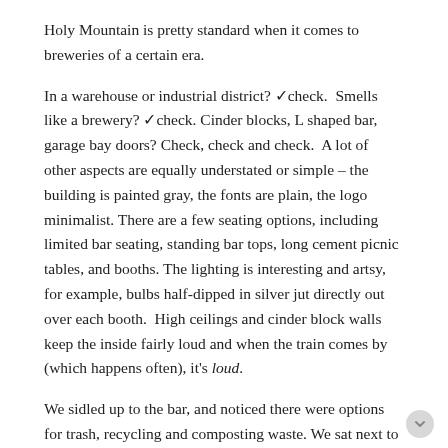Holy Mountain is pretty standard when it comes to breweries of a certain era.
In a warehouse or industrial district? ✓check.  Smells like a brewery? ✓check. Cinder blocks, L shaped bar, garage bay doors? Check, check and check.  A lot of other aspects are equally understated or simple – the building is painted gray, the fonts are plain, the logo minimalist. There are a few seating options, including limited bar seating, standing bar tops, long cement picnic tables, and booths. The lighting is interesting and artsy, for example, bulbs half-dipped in silver jut directly out over each booth.  High ceilings and cinder block walls keep the inside fairly loud and when the train comes by (which happens often), it's loud.
We sidled up to the bar, and noticed there were options for trash, recycling and composting waste. We sat next to a friendly regular, who was unique in the fact that he was also an out-of-towner. Like from the other coast out-of-town. He visits the area regularly for work, and was surprised to hear this was our first stop, on our first night in Seattle. His exact reaction was more along the lines of